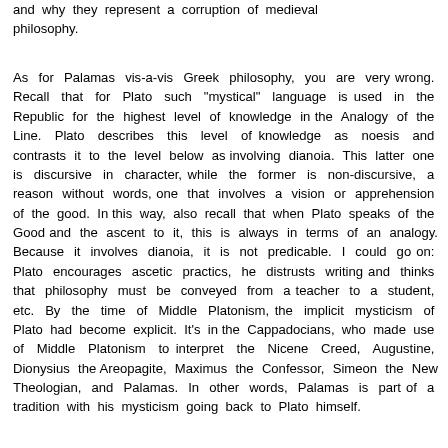and why they represent a corruption of medieval philosophy.
As for Palamas vis-a-vis Greek philosophy, you are very wrong. Recall that for Plato such "mystical" language is used in the Republic for the highest level of knowledge in the Analogy of the Line. Plato describes this level of knowledge as noesis and contrasts it to the level below as involving dianoia. This latter one is discursive in character, while the former is non-discursive, a reason without words, one that involves a vision or apprehension of the good. In this way, also recall that when Plato speaks of the Good and the ascent to it, this is always in terms of an analogy. Because it involves dianoia, it is not predicable. I could go on: Plato encourages ascetic practics, he distrusts writing and thinks that philosophy must be conveyed from a teacher to a student, etc. By the time of Middle Platonism, the implicit mysticism of Plato had become explicit. It's in the Cappadocians, who made use of Middle Platonism to interpret the Nicene Creed, Augustine, Dionysius the Areopagite, Maximus the Confessor, Simeon the New Theologian, and Palamas. In other words, Palamas is part of a tradition with his mysticism going back to Plato himself.